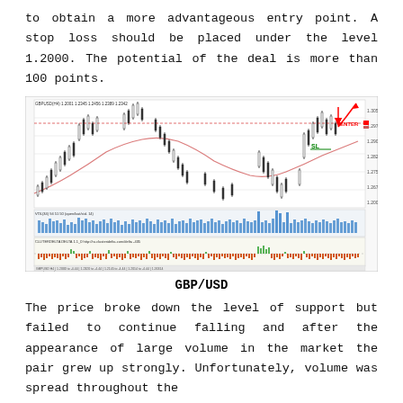to obtain a more advantageous entry point. A stop loss should be placed under the level 1.2000. The potential of the deal is more than 100 points.
[Figure (screenshot): GBP/USD financial chart showing candlestick price action with moving average (red curve), volume indicator (blue bars), and CLUTEREDELTA indicator (orange/green bars). Chart shows ENTER arrow pointing down at resistance and SL label in green. Price range approximately 1.1800-1.3050. Multiple sub-panels showing volume and delta indicators below the main candlestick chart.]
GBP/USD
The price broke down the level of support but failed to continue falling and after the appearance of large volume in the market the pair grew up strongly. Unfortunately, volume was spread throughout the